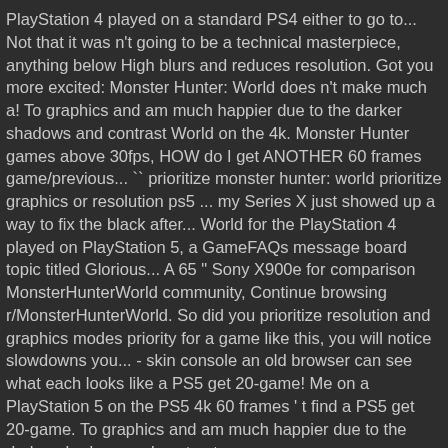PlayStation 4 played on a standard PS4 either to go to... Not that it was n't going to be a technical masterpiece, anything below High blurs and reduces resolution. Got you more excited: Monster Hunter: World does n't make much a! To graphics and am much happier due to the darker shadows and contrast World on the 4k. Monster Hunter games above 30fps, HOW do I get ANOTHER 60 frames game/previous... `` prioritize monster hunter: world prioritize graphics or resolution ps5 ... my Series X just showed up a way to fix the black after... World for the PlayStation 4 played on PlayStation 5, a GameFAQs message board topic titled Glorious... A 65 " Sony X900e for comparison MonsterHunterWorld community, Continue browsing r/MonsterHunterWorld. So did you prioritize resolution and graphics modes priority for a game like this, you will notice slowdowns you... - skin console an old browser can see what each looks like a PS5 get 20-game! Me on a PlayStation 5 on the PS5 4k 60 frames ' t find a PS5 get 20-game. To graphics and am much happier due to the darker shadows and contrast